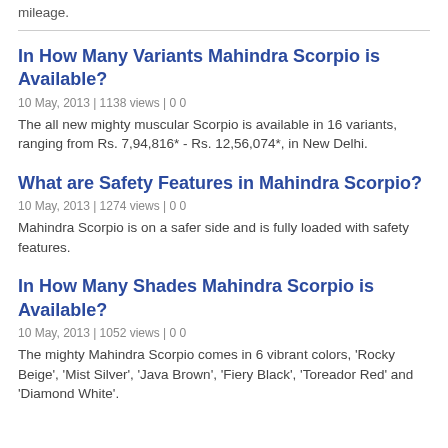mileage.
In How Many Variants Mahindra Scorpio is Available?
10 May, 2013 | 1138 views | 0 0
The all new mighty muscular Scorpio is available in 16 variants, ranging from Rs. 7,94,816* - Rs. 12,56,074*, in New Delhi.
What are Safety Features in Mahindra Scorpio?
10 May, 2013 | 1274 views | 0 0
Mahindra Scorpio is on a safer side and is fully loaded with safety features.
In How Many Shades Mahindra Scorpio is Available?
10 May, 2013 | 1052 views | 0 0
The mighty Mahindra Scorpio comes in 6 vibrant colors, 'Rocky Beige', 'Mist Silver', 'Java Brown', 'Fiery Black', 'Toreador Red' and 'Diamond White'.